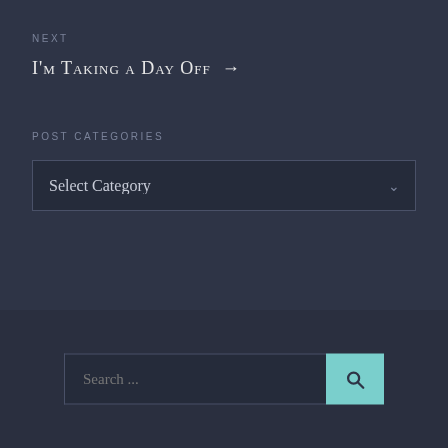NEXT
I'm Taking a Day Off →
POST CATEGORIES
Select Category
Search ...